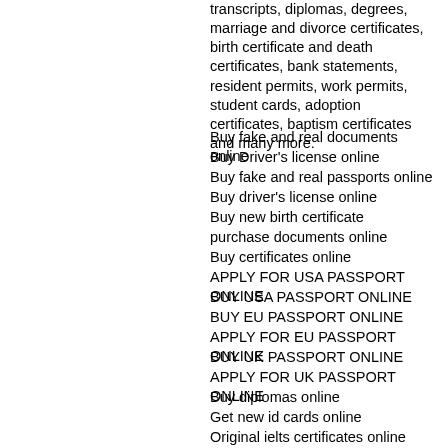transcripts, diplomas, degrees, marriage and divorce certificates, birth certificate and death certificates, bank statements, resident permits, work permits, student cards, adoption certificates, baptism certificates and many more.
Buy fake and real documents online
Buy Driver's license online
Buy fake and real passports online
Buy driver's license online
Buy new birth certificate
purchase documents online
Buy certificates online
APPLY FOR USA PASSPORT ONLINE
BUY USA PASSPORT ONLINE
BUY EU PASSPORT ONLINE
APPLY FOR EU PASSPORT ONLINE
BUY UK PASSPORT ONLINE
APPLY FOR UK PASSPORT ONLINE
Buy diplomas online
Get new id cards online
Original ielts certificates online
Buy passport online